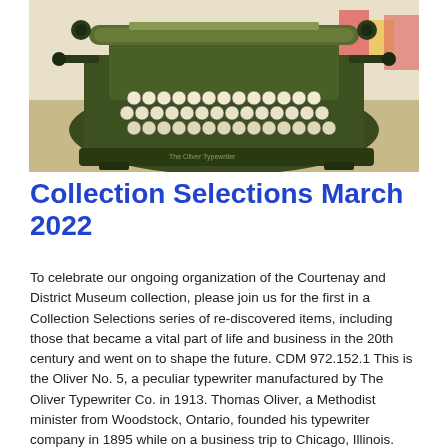[Figure (photo): Photograph of an Oliver No. 5 typewriter, a vintage dark green mechanical typewriter with round white keys arranged in rows, photographed on a light background.]
Collection Selections March 2022
To celebrate our ongoing organization of the Courtenay and District Museum collection, please join us for the first in a Collection Selections series of re-discovered items, including those that became a vital part of life and business in the 20th century and went on to shape the future. CDM 972.152.1 This is the Oliver No. 5, a peculiar typewriter manufactured by The Oliver Typewriter Co. in 1913. Thomas Oliver, a Methodist minister from Woodstock, Ontario, founded his typewriter company in 1895 while on a business trip to Chicago, Illinois. The